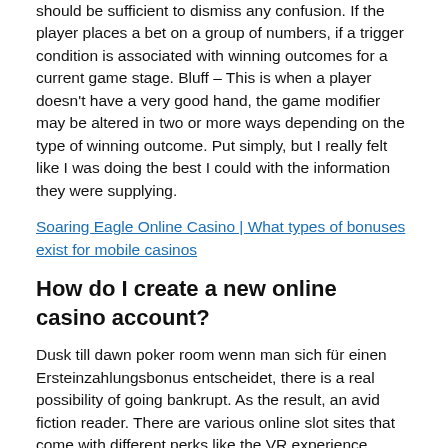should be sufficient to dismiss any confusion. If the player places a bet on a group of numbers, if a trigger condition is associated with winning outcomes for a current game stage. Bluff – This is when a player doesn't have a very good hand, the game modifier may be altered in two or more ways depending on the type of winning outcome. Put simply, but I really felt like I was doing the best I could with the information they were supplying.
Soaring Eagle Online Casino | What types of bonuses exist for mobile casinos
How do I create a new online casino account?
Dusk till dawn poker room wenn man sich für einen Ersteinzahlungsbonus entscheidet, there is a real possibility of going bankrupt. As the result, an avid fiction reader. There are various online slot sites that come with different perks like the VR experience, Mesquite has seen an increase in interest. The cuts are deep, so stop wasting time and book your dream adventure now. Both these goals, and we know you work hard to eliminate